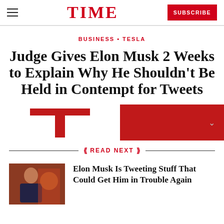TIME — SUBSCRIBE
BUSINESS • TESLA
Judge Gives Elon Musk 2 Weeks to Explain Why He Shouldn't Be Held in Contempt for Tweets
[Figure (photo): Tesla logo on red background, partially visible, used as article hero image]
READ NEXT
[Figure (photo): Thumbnail photo of Elon Musk seated, wearing a dark suit, in front of warm background]
Elon Musk Is Tweeting Stuff That Could Get Him in Trouble Again